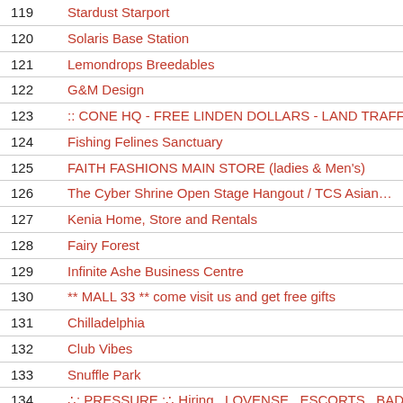| # | Name |
| --- | --- |
| 119 | Stardust Starport |
| 120 | Solaris Base Station |
| 121 | Lemondrops Breedables |
| 122 | G&M Design |
| 123 | :: CONE HQ - FREE LINDEN DOLLARS - LAND TRAFF… |
| 124 | Fishing Felines Sanctuary |
| 125 | FAITH FASHIONS MAIN STORE (ladies & Men's) |
| 126 | The Cyber Shrine Open Stage Hangout / TCS Asian… |
| 127 | Kenia Home, Store and Rentals |
| 128 | Fairy Forest |
| 129 | Infinite Ashe Business Centre |
| 130 | ** MALL 33 ** come visit us and get free gifts |
| 131 | Chilladelphia |
| 132 | Club Vibes |
| 133 | Snuffle Park |
| 134 | ∴: PRESSURE :∴.Hiring . LOVENSE . ESCORTS . BADDI… |
| 135 | Ionas - Sailing - CrispSL.com |
| 136 | $60 Linden Rentals Multi-Scene Skyboxes CHEAP#… |